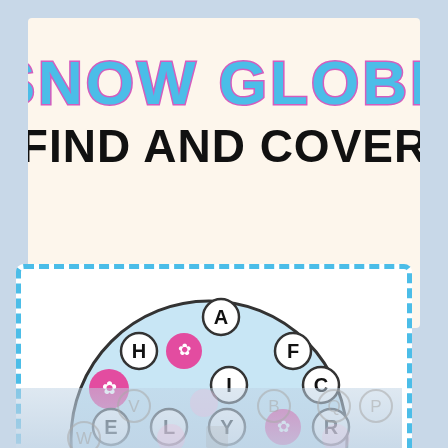SNOW GLOBE
FIND AND COVER
[Figure (illustration): Snow globe find and cover activity card showing a circular snow globe with letter circles (A, H, F, I, C, Y, L, E, R) and pink flower tokens covering some letters, on a blue wavy-bordered white card. Bottom shows a reflection with faded letters (V, W, B, Q, P) and pink/gray tokens.]